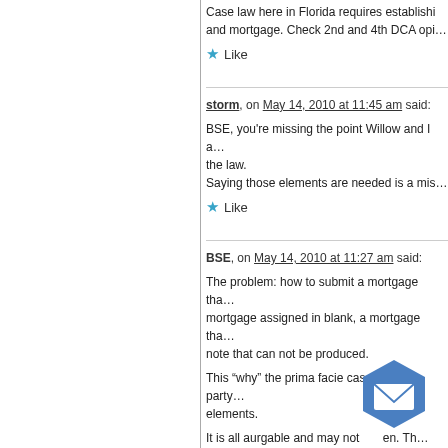Case law here in Florida requires establishing and mortgage. Check 2nd and 4th DCA opi...
Like
storm, on May 14, 2010 at 11:45 am said:
BSE, you're missing the point Willow and I a... the law.
Saying those elements are needed is a mis...
Like
BSE, on May 14, 2010 at 11:27 am said:
The problem: how to submit a mortgage tha... mortgage assigned in blank, a mortgage tha... note that can not be produced.
This “why” the prima facie case for the party... elements.
It is all aurgable and may no... en. Th... the case.
Like